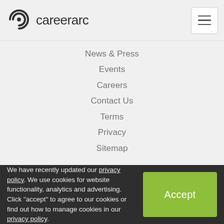careerarc
News & Press
Events
Careers
Contact Us
Terms
Privacy
Sitemap
HR Solutions
Social Recruiting
Resources
Demo
Blog
Job Seekers
We have recently updated our privacy policy. We use cookies for website functionality, analytics and advertising. Click "accept" to agree to our cookies or find out how to manage cookies in our privacy policy.